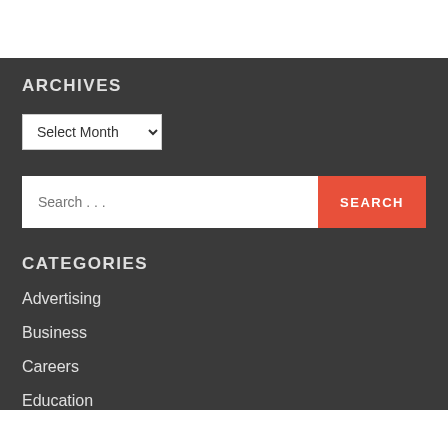ARCHIVES
Select Month
Search ...
CATEGORIES
Advertising
Business
Careers
Education